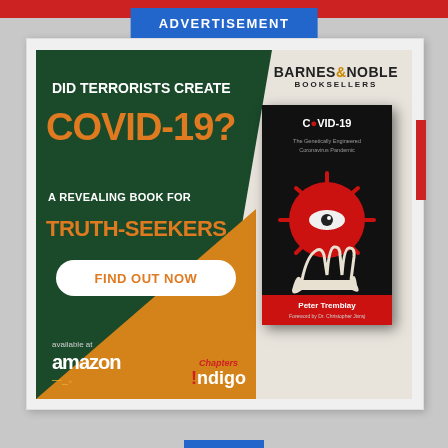ADVERTISEMENT
[Figure (illustration): Book advertisement for 'COVID-19' by Peter Tremblay. Dark green background with orange triangle. Text: 'DID TERRORISTS CREATE COVID-19? A REVEALING BOOK FOR TRUTH-SEEKERS.' Button: 'FIND OUT NOW'. Available at Amazon, Chapters Indigo. Barnes & Noble Booksellers logo. Book cover showing COVID-19 with virus/eye illustration.]